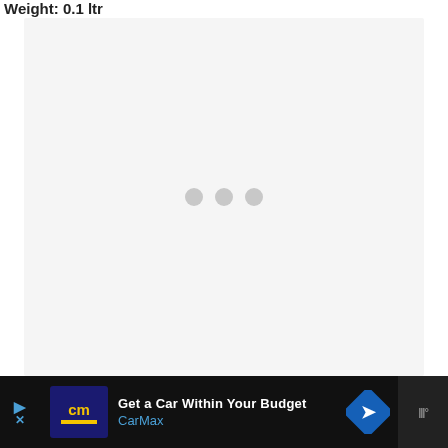Weight: 0.1 ltr
[Figure (other): A light gray loading placeholder box with three gray dots in the center indicating content is loading]
[Figure (other): Advertisement banner for CarMax: 'Get a Car Within Your Budget' with CarMax logo, blue navigation arrow icon, and weather app icon on right]